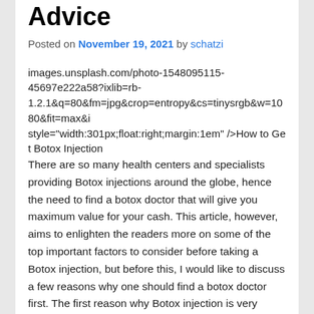Advice
Posted on November 19, 2021 by schatzi
images.unsplash.com/photo-1548095115-45697e222a58?ixlib=rb-1.2.1&q=80&fm=jpg&crop=entropy&cs=tinysrgb&w=1080&fit=max&i style="width:301px;float:right;margin:1em" />How to Get Botox Injection
There are so many health centers and specialists providing Botox injections around the globe, hence the need to find a botox doctor that will give you maximum value for your cash. This article, however, aims to enlighten the readers more on some of the top important factors to consider before taking a Botox injection, but before this, I would like to discuss a few reasons why one should find a botox doctor first. The first reason why Botox injection is very essential is that you will end up getting relieved from migraines, hence ensuring that you enjoy maximum comfort. Excessive sweating definitely comes with a range of side effects, one of them being great body discomfort, and for this reason, therefore, it is important